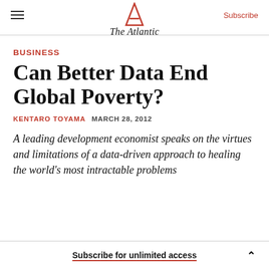The Atlantic
BUSINESS
Can Better Data End Global Poverty?
KENTARO TOYAMA   MARCH 28, 2012
A leading development economist speaks on the virtues and limitations of a data-driven approach to healing the world's most intractable problems
Subscribe for unlimited access